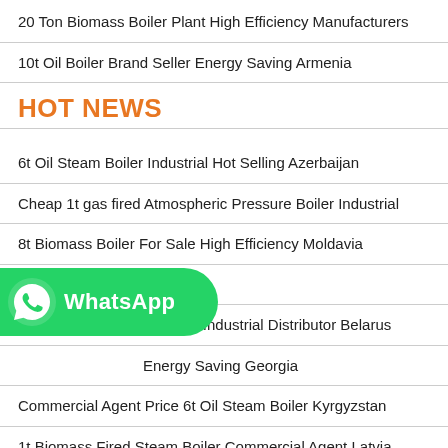20 Ton Biomass Boiler Plant High Efficiency Manufacturers
10t Oil Boiler Brand Seller Energy Saving Armenia
HOT NEWS
6t Oil Steam Boiler Industrial Hot Selling Azerbaijan
Cheap 1t gas fired Atmospheric Pressure Boiler Industrial
8t Biomass Boiler For Sale High Efficiency Moldavia
4 Ton Biomass Boiler Estonia
20 Ton Diesel Steam Boiler Industrial Distributor Belarus
Energy Saving Georgia
Commercial Agent Price 6t Oil Steam Boiler Kyrgyzstan
1t Biomass Fired Steam Boiler Commercial Agent Latvia
[Figure (logo): WhatsApp button with green background, phone icon, and WhatsApp label text]